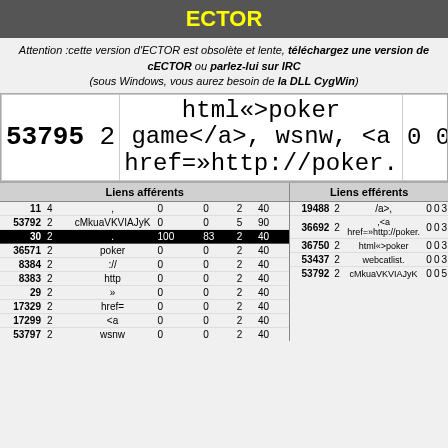ECTOR
Attention :cette version d'ECTOR est obsolète et lente, téléchargez une version de cECTOR ou parlez-lui sur IRC (sous Windows, vous aurez besoin de la DLL CygWin)
| 53795 | 2 | html<>poker game</a>, wsnw, <a href=»http://poker. | 0 | 0 | 1 | 80 | 0 | 0 | 0 |
| --- | --- | --- | --- | --- | --- | --- | --- | --- | --- |
| Liens afférents | Liens efférents |
| --- | --- |
| 11 | 4 | , | 0 | 0 | 2 | 40 | 19488 | 2 | /a>, | 0 | 0 | 3 |
| 53792 | 2 | cMkuaVKVIAJyK | 0 | 0 | 5 | 90 | 36692 | 2 | ,<a href=»http://poker. | 0 | 0 | 3 |
| 30 | 2 | . | 100 | 83 | 2 | 40 |
| 36571 | 2 | poker | 0 | 0 | 2 | 40 | 36750 | 2 | html<>poker | 0 | 0 | 3 |
| 8384 | 2 | :// | 0 | 0 | 2 | 40 | 53437 | 2 | webcatlist. | 0 | 0 | 3 |
| 8383 | 2 | http | 0 | 0 | 2 | 40 | 53792 | 2 | cMkuaVKVIAJyK | 0 | 0 | 5 |
| 29 | 2 | » | 0 | 0 | 2 | 40 |
| 17329 | 2 | href= | 0 | 0 | 2 | 40 |
| 17299 | 2 | <a | 0 | 0 | 2 | 40 |
| 53797 | 2 | wsnw | 0 | 0 | 2 | 40 |